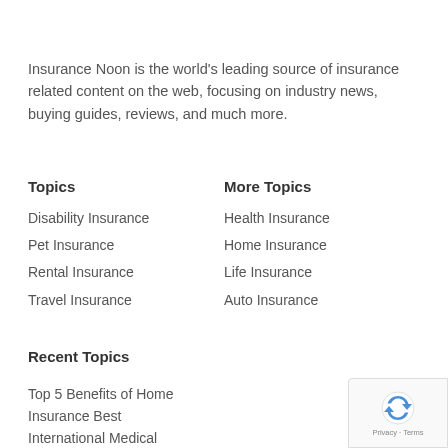Insurance Noon is the world's leading source of insurance related content on the web, focusing on industry news, buying guides, reviews, and much more.
Topics
More Topics
Disability Insurance
Pet Insurance
Rental Insurance
Travel Insurance
Health Insurance
Home Insurance
Life Insurance
Auto Insurance
Recent Topics
Top 5 Benefits of Home
Insurance Best
International Medical
Insurance Stay Safe When